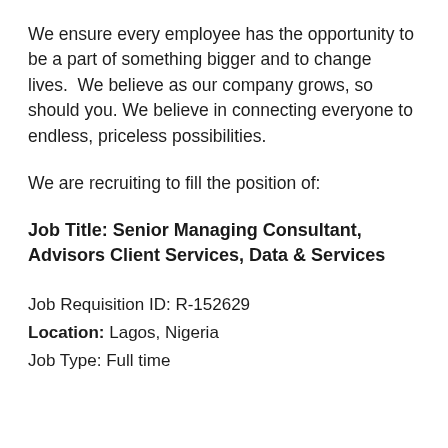We ensure every employee has the opportunity to be a part of something bigger and to change lives.  We believe as our company grows, so should you. We believe in connecting everyone to endless, priceless possibilities.
We are recruiting to fill the position of:
Job Title: Senior Managing Consultant, Advisors Client Services, Data & Services
Job Requisition ID: R-152629
Location: Lagos, Nigeria
Job Type: Full time